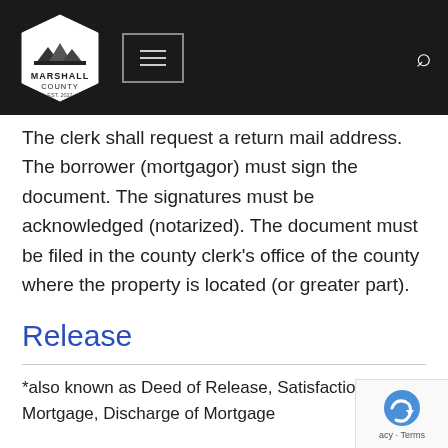Marshall County — navigation header with logo, menu, and search
The clerk shall request a return mail address. The borrower (mortgagor) must sign the document. The signatures must be acknowledged (notarized). The document must be filed in the county clerk's office of the county where the property is located (or greater part).
Release
*also known as Deed of Release, Satisfaction of Mortgage, Discharge of Mortgage